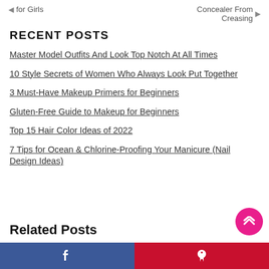◄ for Girls   Concealer From Creasing ►
RECENT POSTS
Master Model Outfits And Look Top Notch At All Times
10 Style Secrets of Women Who Always Look Put Together
3 Must-Have Makeup Primers for Beginners
Gluten-Free Guide to Makeup for Beginners
Top 15 Hair Color Ideas of 2022
7 Tips for Ocean & Chlorine-Proofing Your Manicure (Nail Design Ideas)
Related Posts
Facebook  Pinterest